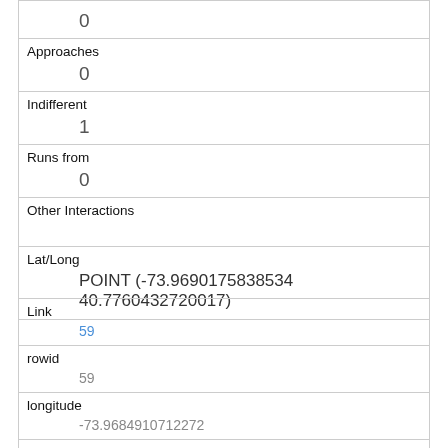| Approaches | 0 |
| Indifferent | 1 |
| Runs from | 0 |
| Other Interactions |  |
| Lat/Long | POINT (-73.9690175838534 40.7760432720017) |
| Link | 59 |
| rowid | 59 |
| longitude | -73.9684910712272 |
| latitude | 40.776881164002106 |
| Unique Squirrel ID |  |